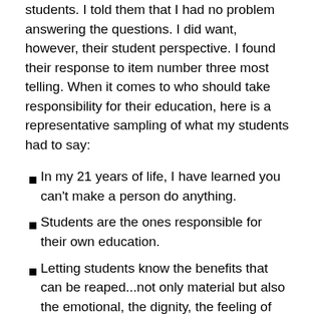students. I told them that I had no problem answering the questions. I did want, however, their student perspective. I found their response to item number three most telling. When it comes to who should take responsibility for their education, here is a representative sampling of what my students had to say:
In my 21 years of life, I have learned you can't make a person do anything.
Students are the ones responsible for their own education.
Letting students know the benefits that can be reaped...not only material but also the emotional, the dignity, the feeling of accomplishment; the rewards are unending.
Ultimately, it is up to the student, but having a family-like environment with your class goes a long